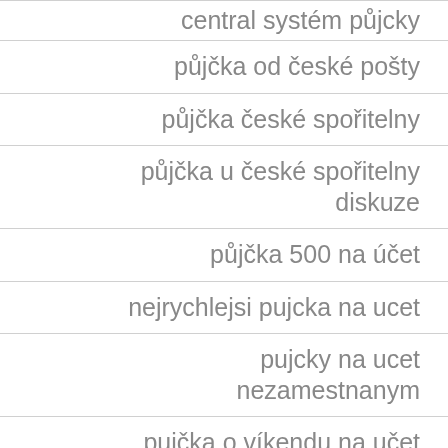central systém půjcky
půjčka od české pošty
půjčka české spořitelny
půjčka u české spořitelny diskuze
půjčka 500 na účet
nejrychlejsi pujcka na ucet
pujcky na ucet nezamestnanym
pujčka o víkendu na učet
pujčka do hodiny na účet
nebankovní půjčka online